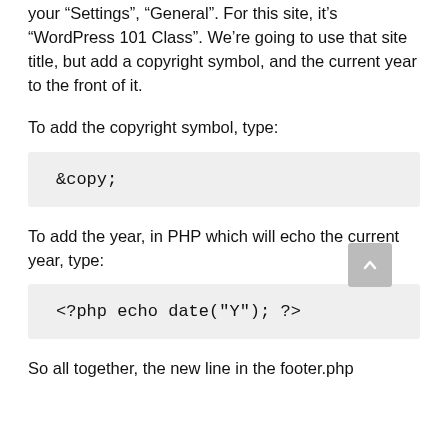your “Settings”, “General”. For this site, it’s “WordPress 101 Class”. We’re going to use that site title, but add a copyright symbol, and the current year to the front of it.
To add the copyright symbol, type:
&copy;
To add the year, in PHP which will echo the current year, type:
<?php echo date("Y"); ?>
So all together, the new line in the footer.php